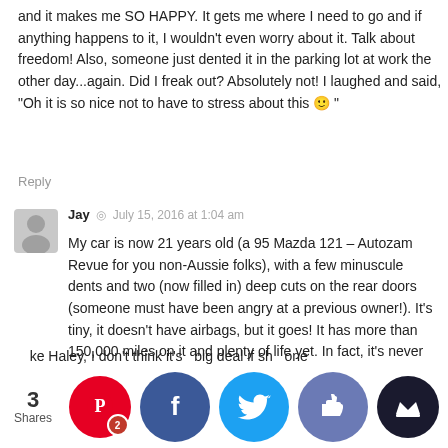and it makes me SO HAPPY. It gets me where I need to go and if anything happens to it, I wouldn't even worry about it. Talk about freedom! Also, someone just dented it in the parking lot at work the other day...again. Did I freak out? Absolutely not! I laughed and said, "Oh it is so nice not to have to stress about this 🙂 "
Reply
Jay  ◎  July 15, 2016 at 1:04 am
My car is now 21 years old (a 95 Mazda 121 – Autozam Revue for you non-Aussie folks), with a few minuscule dents and two (now filled in) deep cuts on the rear doors (someone must have been angry at a previous owner!). It's tiny, it doesn't have airbags, but it goes! It has more than 150,000 miles on it and plenty of life yet. In fact, it's never let me down. It has cost me less than $2k to keep it going in the last 4 years – cheap regular services plus some new brakes, new cv joint and a new clutch. It cost me $900 to buy and is in better condition than when I bought it, so I look fo...o plen...years...g yet.
...ke Haley, I don't think it's...big deal if sh...one
[Figure (infographic): Social share bar with count '3 Shares' and buttons for Pinterest (with badge '2'), Facebook, Twitter, Likes/thumbs-up, and a crown button]